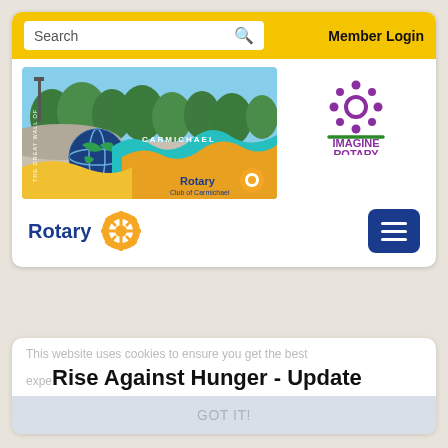[Figure (screenshot): Website screenshot of Rotary Club of Carmichael. Contains a yellow search bar with 'Search' field and 'Member Login' link, a mural photo banner showing 'The Great Wall of Carmichael' with Rotary branding, an 'Imagine Rotary' logo with purple sun icon, Rotary gear logo, hamburger menu button, cookie notice overlay, and 'Rise Against Hunger - Update' article title with 'GOT IT!' button.]